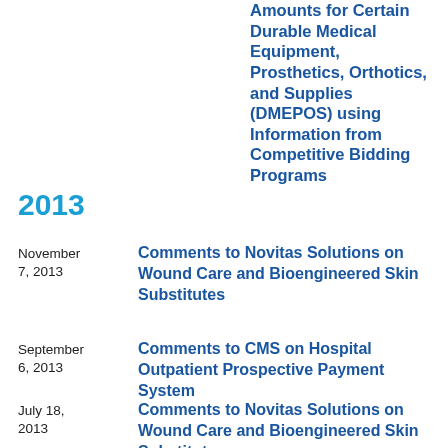Amounts for Certain Durable Medical Equipment, Prosthetics, Orthotics, and Supplies (DMEPOS) using Information from Competitive Bidding Programs
2013
November 7, 2013 — Comments to Novitas Solutions on Wound Care and Bioengineered Skin Substitutes
September 6, 2013 — Comments to CMS on Hospital Outpatient Prospective Payment System
July 18, 2013 — Comments to Novitas Solutions on Wound Care and Bioengineered Skin Substitutes